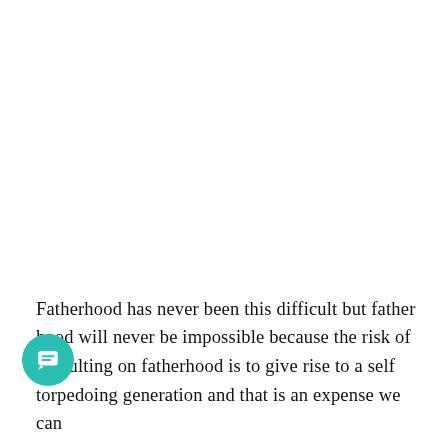Fatherhood has never been this difficult but fatherhood will never be impossible because the risk of defaulting on fatherhood is to give rise to a self torpedoing generation and that is an expense we can